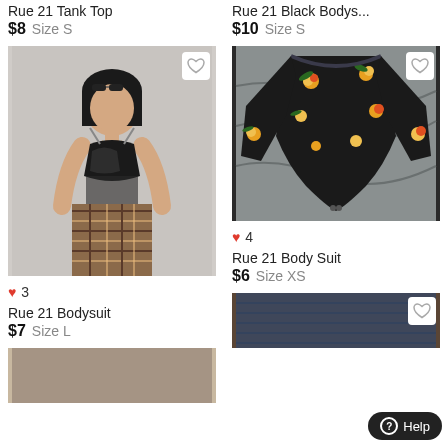Rue 21 Tank Top
$8  Size S
[Figure (photo): Woman wearing a black satin bustier top with sheer details and plaid skirt, with sunglasses on head]
♥ 3
Rue 21 Bodysuit
$7  Size L
[Figure (photo): Partial image at bottom left]
Rue 21 Black Bodys...
$10  Size S
[Figure (photo): Black floral long-sleeve bodysuit laid flat on grey surface]
♥ 4
Rue 21 Body Suit
$6  Size XS
[Figure (photo): Partial image of clothing at bottom right]
Help